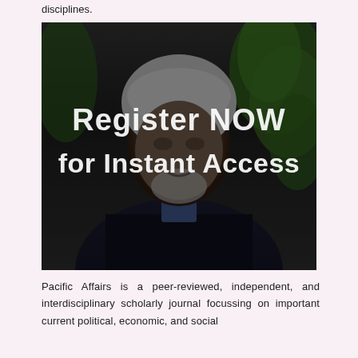disciplines.
[Figure (photo): A man with gray hair and beard, wearing a dark jacket, sitting in front of green tropical plants. Overlaid text reads 'Register NOW for Instant Access']
Pacific Affairs is a peer-reviewed, independent, and interdisciplinary scholarly journal focussing on important current political, economic, and social